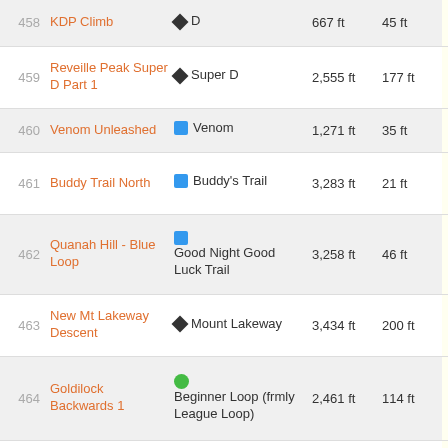| # | Trail Name | Segment | Distance | Elevation | Score |
| --- | --- | --- | --- | --- | --- |
| 458 | KDP Climb | Super D | 667 ft | 45 ft | 695 |
| 459 | Reveille Peak Super D Part 1 | Super D | 2,555 ft | 177 ft | 693 |
| 460 | Venom Unleashed | Venom | 1,271 ft | 35 ft | 691 |
| 461 | Buddy Trail North | Buddy's Trail | 3,283 ft | 21 ft | 691 |
| 462 | Quanah Hill - Blue Loop | Good Night Good Luck Trail | 3,258 ft | 46 ft | 690 |
| 463 | New Mt Lakeway Descent | Mount Lakeway | 3,434 ft | 200 ft | 688 |
| 464 | Goldilock Backwards 1 | Beginner Loop (frmly League Loop) | 2,461 ft | 114 ft | 687 |
| 465 | Train Robbers Trail | Train Robbers | 1,304 ft | 7 ft | 686 |